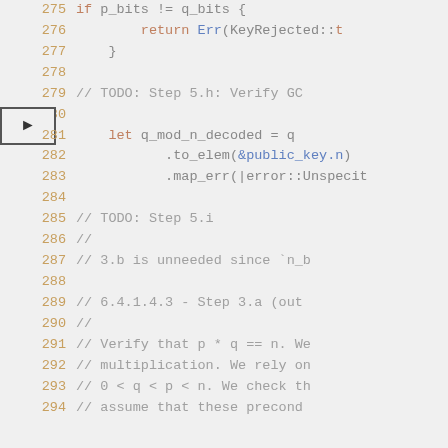[Figure (screenshot): Source code editor screenshot showing Rust code lines 275-294 with syntax highlighting. Line 280 has an arrow indicator pointing to it. Code includes if/else, let bindings, and comment lines about TODO steps and verification.]